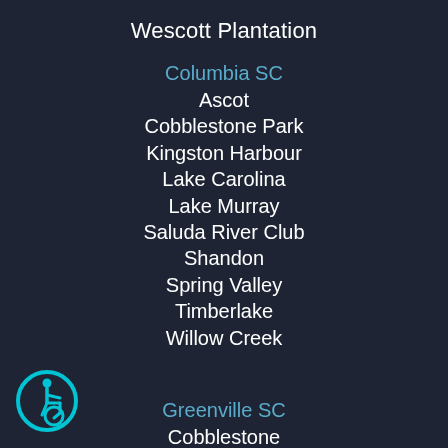Wescott Plantation
Columbia SC
Ascot
Cobblestone Park
Kingston Harbour
Lake Carolina
Lake Murray
Saluda River Club
Shandon
Spring Valley
Timberlake
Willow Creek
Greenville SC
Cobblestone
Cottages at Harrison Bridge
Five Forks Plantation
[Figure (illustration): Wheelchair accessibility icon — cyan circle with wheelchair user symbol]